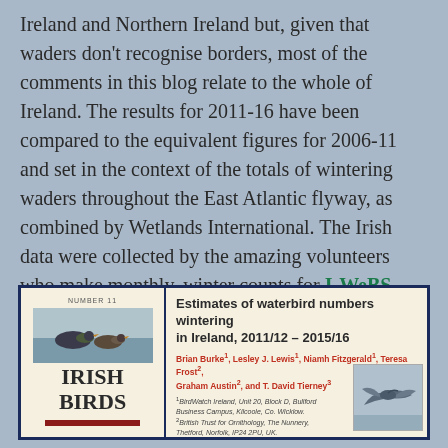Ireland and Northern Ireland but, given that waders don't recognise borders, most of the comments in this blog relate to the whole of Ireland. The results for 2011-16 have been compared to the equivalent figures for 2006-11 and set in the context of the totals of wintering waders throughout the East Atlantic flyway, as combined by Wetlands International. The Irish data were collected by the amazing volunteers who make monthly, winter counts for I-WeBS (BirdWatch Ireland & National Parks & Wildlife Service) and WeBS (BTO/RSPB/JNCC in Northern Ireland).
[Figure (photo): Book cover of Irish Birds journal with duck illustration, alongside an article titled 'Estimates of waterbird numbers wintering in Ireland, 2011/12 – 2015/16' with authors and affiliations, and a photo of a bird in flight.]